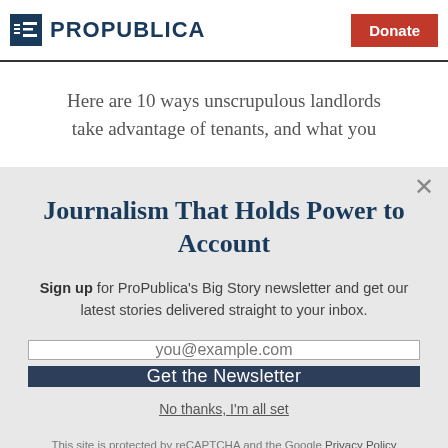ProPublica | Donate
Here are 10 ways unscrupulous landlords take advantage of tenants, and what you...
Journalism That Holds Power to Account
Sign up for ProPublica's Big Story newsletter and get our latest stories delivered straight to your inbox.
you@example.com
Get the Newsletter
No thanks, I'm all set
This site is protected by reCAPTCHA and the Google Privacy Policy and Terms of Service apply.